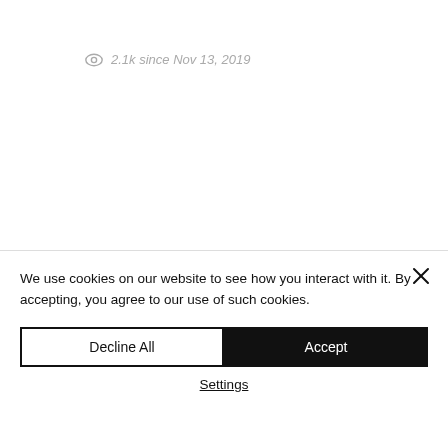2.1k since Nov 13, 2019
We use cookies on our website to see how you interact with it. By accepting, you agree to our use of such cookies.
Decline All
Accept
Settings